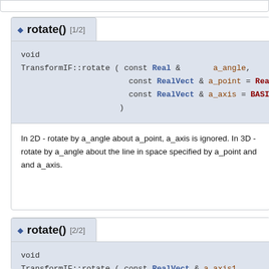rotate() [1/2]
void
TransformIF::rotate ( const Real & a_angle,
                       const RealVect & a_point = RealVect::Zero
                       const RealVect & a_axis = BASISREALV(0)
                     )
In 2D - rotate by a_angle about a_point, a_axis is ignored. In 3D - rotate by a_angle about the line in space specified by a_point and and a_axis.
rotate() [2/2]
void
TransformIF::rotate ( const RealVect & a_axis1,